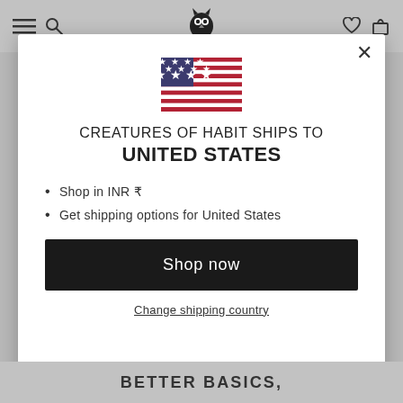[Figure (screenshot): Website header with navigation icons (hamburger menu, search, logo owl, wishlist heart, bag) on a gray background]
[Figure (illustration): US flag SVG illustration inside modal dialog]
CREATURES OF HABIT SHIPS TO UNITED STATES
Shop in INR ₹
Get shipping options for United States
Shop now
Change shipping country
BETTER BASICS,